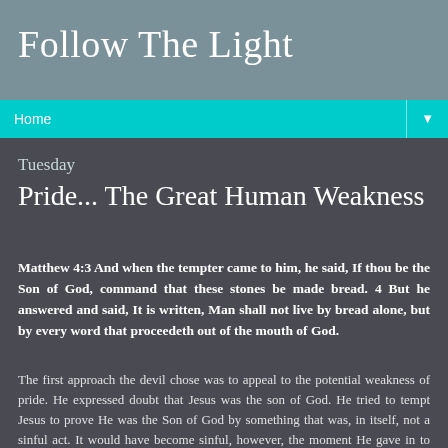Follow The Light
Home ▼
Tuesday
Pride... The Great Human Weakness
Matthew 4:3 And when the tempter came to him, he said, If thou be the Son of God, command that these stones be made bread. 4 But he answered and said, It is written, Man shall not live by bread alone, but by every word that proceedeth out of the mouth of God.
The first approach the devil chose was to appeal to the potential weakness of pride. He expressed doubt that Jesus was the son of God. He tried to tempt Jesus to prove He was the Son of God by something that was, in itself, not a sinful act. It would have become sinful, however, the moment He gave in to satan. Sometimes we can be seduced by the pride-driven need to defend our status or reputation. This temptation was repeatedly thrown in Jesus' face!